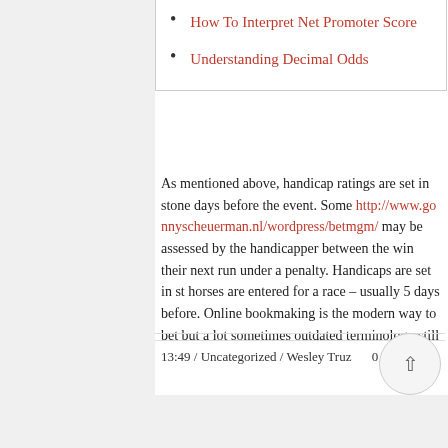How To Interpret Net Promoter Score
Understanding Decimal Odds
As mentioned above, handicap ratings are set in stone days before the event. Some http://www.gonnyscheuerman.nl/wordpress/betmgm/ may be assessed by the handicapper between the win their next run under a penalty. Handicaps are set in st horses are entered for a race – usually 5 days before. Online bookmaking is the modern way to bet but a lot sometimes outdated terminology still exists.
13:49 / Uncategorized / Wesley Truz  0 Likes / 0 C